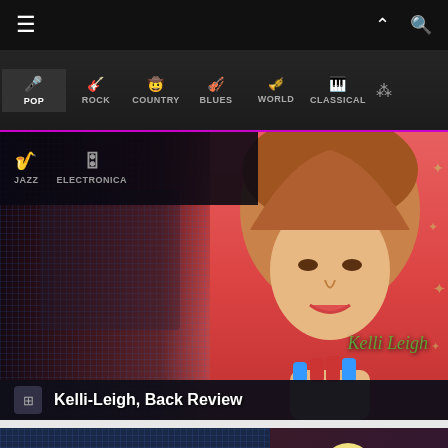Music app navigation bar
POP
ROCK
COUNTRY
BLUES
WORLD
CLASSICAL
JAZZ
ELECTRONICA
[Figure (photo): Music streaming app screenshot showing genre navigation menu with POP selected, featuring a promotional card for Kelli-Leigh Back Review with artist photo on red background]
Kelli-Leigh, Back Review
[Figure (photo): Second music card showing Gangeband Superstar with pink star graphic and female artist photo]